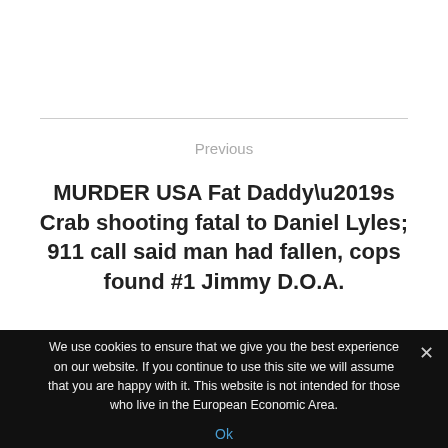Previous
MURDER USA Fat Daddy’s Crab shooting fatal to Daniel Lyles; 911 call said man had fallen, cops found #1 Jimmy D.O.A.
Leave a Reply
We use cookies to ensure that we give you the best experience on our website. If you continue to use this site we will assume that you are happy with it. This website is not intended for those who live in the European Economic Area.
Ok